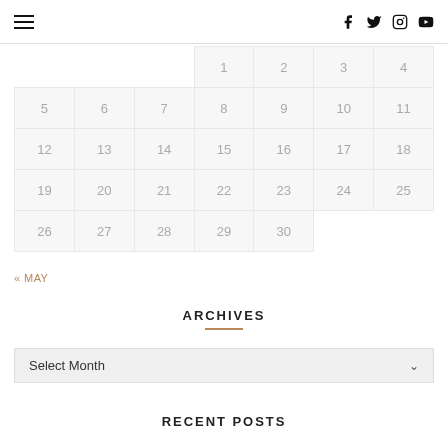hamburger menu, f, twitter, instagram, youtube social icons
|  |  |  | 1 | 2 | 3 | 4 |
| 5 | 6 | 7 | 8 | 9 | 10 | 11 |
| 12 | 13 | 14 | 15 | 16 | 17 | 18 |
| 19 | 20 | 21 | 22 | 23 | 24 | 25 |
| 26 | 27 | 28 | 29 | 30 |  |  |
« MAY
ARCHIVES
Select Month
RECENT POSTS